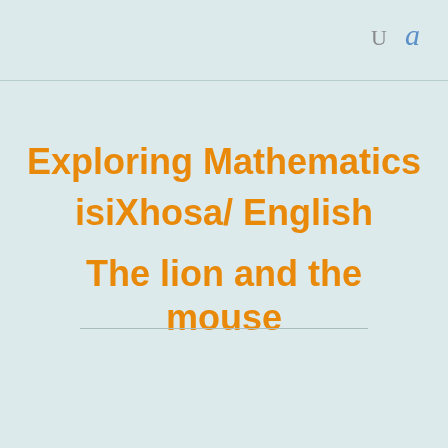U  a
Exploring Mathematics isiXhosa/ English
The lion and the mouse